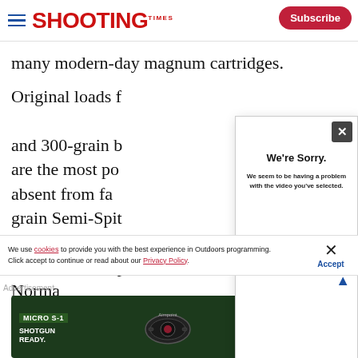Shooting Times — Subscribe
many modern-day magnum cartridges.
Original loads for the .375 H&H carried 235-, 270- and 300-grain b[ullets]... are the most po[pular]... absent from fa[ctory loads]... grain Semi-Spit[zer]... it's suitable for... reduced-recoil practice loads. In addition, Norma
[Figure (screenshot): Video error modal overlay with 'We're Sorry. We seem to be having a problem with the video you've selected.' message and a dark footer bar with error code text.]
We use cookies to provide you with the best experience in Outdoors programming. Click accept to continue or read about our Privacy Policy.
[Figure (other): Advertisement banner for Aimpoint Micro S-1 red dot sight — 'MICRO S-1 SHOTGUN READY. GEAR UP Aimpoint']